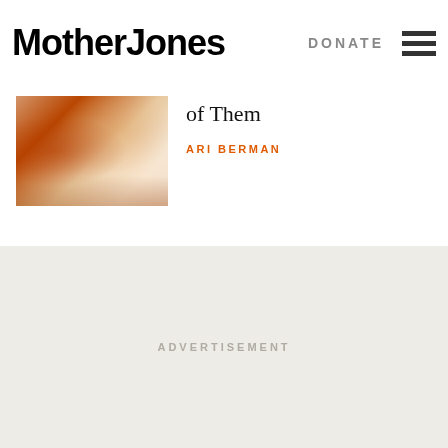Mother Jones
DONATE
[Figure (photo): Crowd photo, people at a rally wearing red hats and orange clothing]
of Them
ARI BERMAN
ADVERTISEMENT